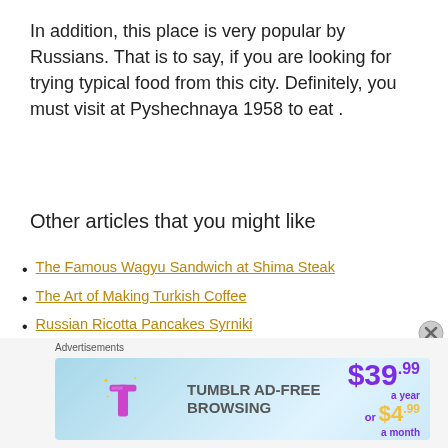In addition, this place is very popular by Russians. That is to say, if you are looking for trying typical food from this city. Definitely, you must visit at Pyshechnaya 1958 to eat .
Other articles that you might like
The Famous Wagyu Sandwich at Shima Steak
The Art of Making Turkish Coffee
Russian Ricotta Pancakes Syrniki
Pelmeni Russian Dumplings in Saint Petersburg
Yakitori The Best Japanese BBQ in My Entire Life in Tokyo
[Figure (screenshot): Tumblr Ad-Free Browsing advertisement banner showing $39.99 a year or $4.99 a month pricing]